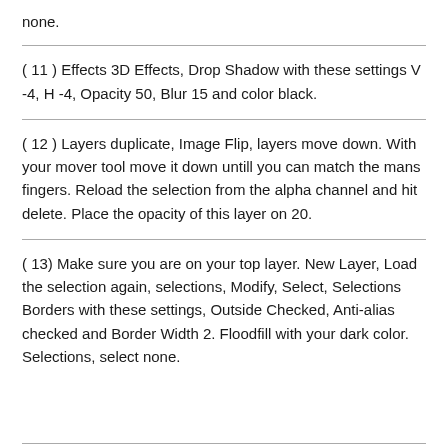none.
( 11 ) Effects 3D Effects, Drop Shadow with these settings V -4, H -4, Opacity 50, Blur 15 and color black.
( 12 ) Layers duplicate, Image Flip, layers move down. With your mover tool move it down untill you can match the mans fingers. Reload the selection from the alpha channel and hit delete. Place the opacity of this layer on 20.
( 13) Make sure you are on your top layer. New Layer, Load the selection again, selections, Modify, Select, Selections Borders with these settings, Outside Checked, Anti-alias checked and Border Width 2. Floodfill with your dark color. Selections, select none.